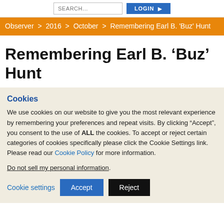SEARCH...  LOGIN
Observer > 2016 > October > Remembering Earl B. 'Buz' Hunt
Remembering Earl B. ‘Buz’ Hunt
Cookies
We use cookies on our website to give you the most relevant experience by remembering your preferences and repeat visits. By clicking “Accept”, you consent to the use of ALL the cookies. To accept or reject certain categories of cookies specifically please click the Cookie Settings link. Please read our Cookie Policy for more information.
Do not sell my personal information.